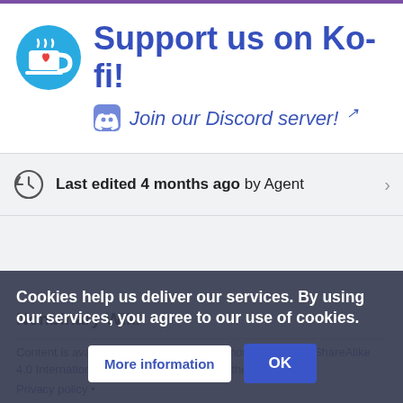[Figure (logo): Ko-fi logo: blue circle with a white coffee cup and red heart]
Support us on Ko-fi!
[Figure (logo): Discord logo: purple/blue rounded square with the Discord blurple icon]
Join our Discord server! [external link icon]
Last edited 4 months ago by Agent
Nonbinary Wiki
Content is available under Creative Commons Attribution-ShareAlike 4.0 International (CC-BY-SA 4.0) unless otherwise noted.
Privacy policy
Cookies help us deliver our services. By using our services, you agree to our use of cookies.
More information
OK